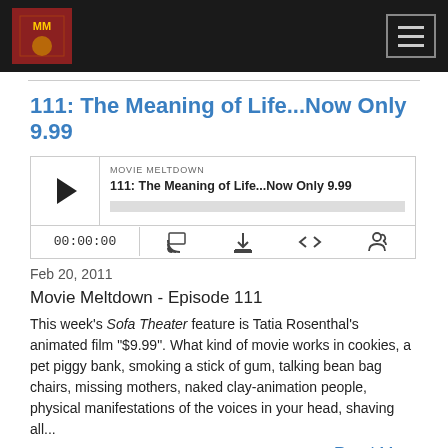Movie Meltdown podcast navigation bar
111: The Meaning of Life...Now Only 9.99
[Figure (other): Podcast audio player widget showing Movie Meltdown episode 111: The Meaning of Life...Now Only 9.99, with play button, progress bar, time counter 00:00:00, and control icons for cast, download, embed, and share]
Feb 20, 2011
Movie Meltdown - Episode 111
This week's Sofa Theater feature is Tatia Rosenthal's animated film "$9.99". What kind of movie works in cookies, a pet piggy bank, smoking a stick of gum, talking bean bag chairs, missing mothers, naked clay-animation people, physical manifestations of the voices in your head, shaving all...
Read More